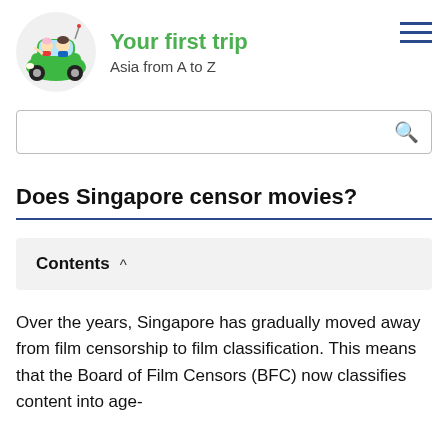Your first trip
Asia from A to Z
Does Singapore censor movies?
Contents
Over the years, Singapore has gradually moved away from film censorship to film classification. This means that the Board of Film Censors (BFC) now classifies content into age-